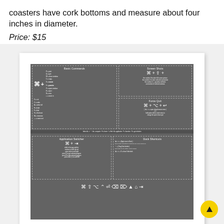coasters have cork bottoms and measure about four inches in diameter.
Price: $15
[Figure (infographic): A framed Mac keyboard shortcuts reference poster/print displayed against a light gray background. The poster has a dark gray background with white text organized into sections: Basic Commands (showing command key shortcuts like X=cut, Z=undo, A=select all, H=hide, F=find, G=find next, M=minimize, and shortcut combinations with P=print, Q=quit, W=close window, C=copy, S=save, V=paste, O=open window, E=eject, N=new, zoom in/out), Screen Shots (command+shift+ number combos), Force Quit (command+option+escape), a middle bar with key legend, Application Switcher (command+tab), Dock Shortcuts (command+option shortcuts), and bottom icons row with keyboard symbols.]